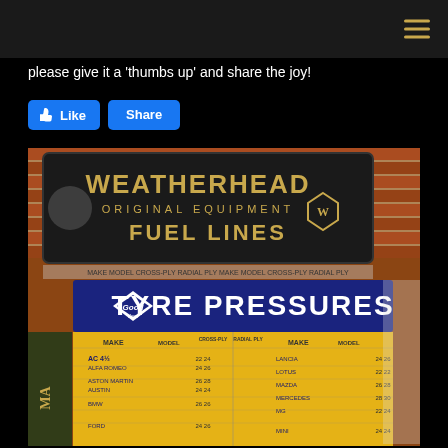Navigation bar with hamburger menu icon
please give it a 'thumbs up' and share the joy!
[Figure (photo): Photo of vintage garage signs: a Weatherhead Original Equipment Fuel Lines sign (black with yellow/gold lettering) and a Goodyear Tyre Pressures chart sign (blue and yellow) showing a table of tyre pressures for various car makes and models including Lancia, Lotus, Mazda, Mercedes, MG, Mini, Aston Martin, Austin, BMW, Ford, Alfa Romeo. Brick wall background.]